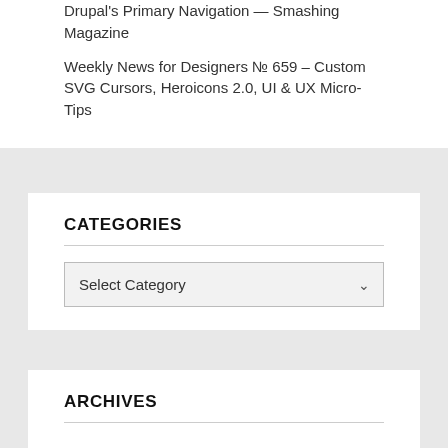Drupal's Primary Navigation — Smashing Magazine
Weekly News for Designers № 659 – Custom SVG Cursors, Heroicons 2.0, UI & UX Micro-Tips
CATEGORIES
ARCHIVES